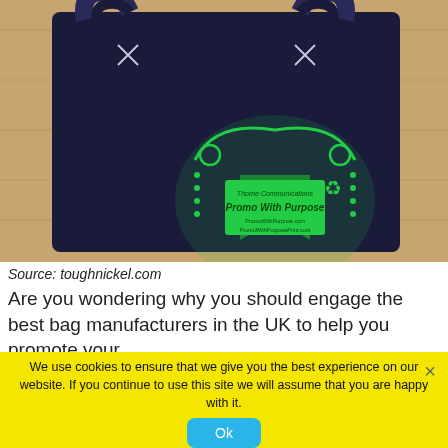[Figure (photo): A dark navy blue tote bag with green decorative print showing 'Thorne Communications Promo With Purpose' branding, laid flat on a wooden surface. The bag has visible stitching at the handles shown as X marks.]
Source: toughnickel.com
Are you wondering why you should engage the best bag manufacturers in the UK to help you promote your business with branded bags? Be
We use cookies to ensure that we give you the best experience on our website. If you continue to use this site we will assume that you are happy with it.